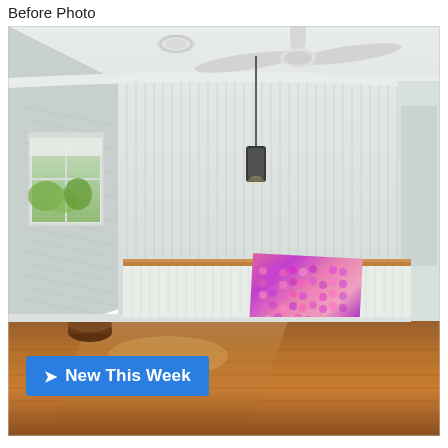Before Photo
[Figure (photo): Interior room before photo: an empty room with white tongue-and-groove paneled walls, white ceiling with a white ceiling fan and a round exhaust vent, a pendant light hanging from ceiling, a window on the left wall with a roller blind and foliage visible outside, a low white timber-topped counter/half-wall divider across the center-back, a colorful pink/purple mosaic artwork leaning against the divider, a small dark pouf/ottoman on the floor left, and warm-toned polished timber hardwood floors reflecting light.]
✈New This Week